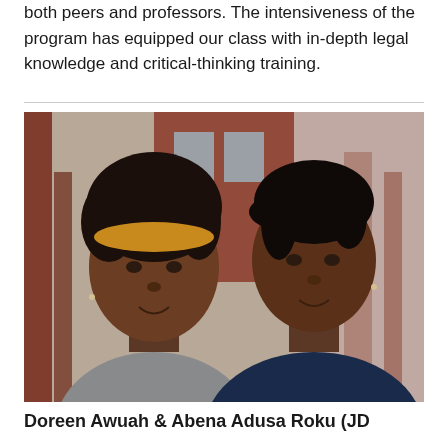both peers and professors. The intensiveness of the program has equipped our class with in-depth legal knowledge and critical-thinking training.
[Figure (photo): Portrait photograph of two young women smiling, standing outdoors in front of a red brick building with columns. The woman on the left has natural hair with a colorful headband and wears a grey blazer. The woman on the right has short hair and wears a dark navy top.]
Doreen Awuah & Abena Adusa Roku (JD...